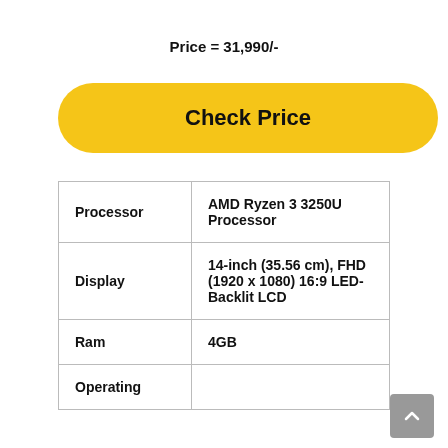Price = 31,990/-
[Figure (other): Yellow pill-shaped 'Check Price' button]
| Processor | AMD Ryzen 3 3250U Processor |
| Display | 14-inch (35.56 cm), FHD (1920 x 1080) 16:9 LED-Backlit LCD |
| Ram | 4GB |
| Operating |  |